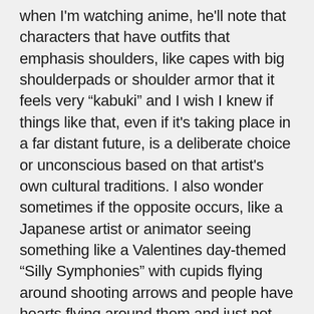when I'm watching anime, he'll note that characters that have outfits that emphasis shoulders, like capes with big shoulderpads or shoulder armor that it feels very “kabuki” and I wish I knew if things like that, even if it's taking place in a far distant future, is a deliberate choice or unconscious based on that artist's own cultural traditions. I also wonder sometimes if the opposite occurs, like a Japanese artist or animator seeing something like a Valentines day-themed “Silly Symphonies” with cupids flying around shooting arrows and people have hearts flying around them and just not understanding our own Western visual shorthand traditions.